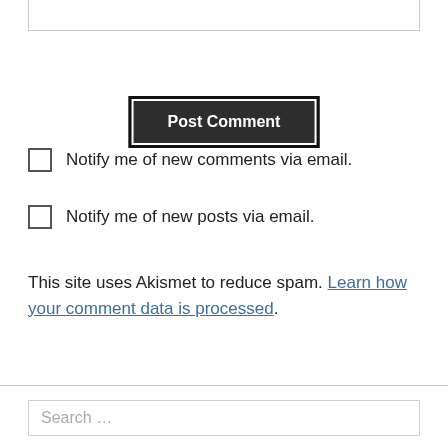[Figure (screenshot): Top border of a text input box, partially visible at the top of the page]
Post Comment
Notify me of new comments via email.
Notify me of new posts via email.
This site uses Akismet to reduce spam. Learn how your comment data is processed.
Search ...
Search